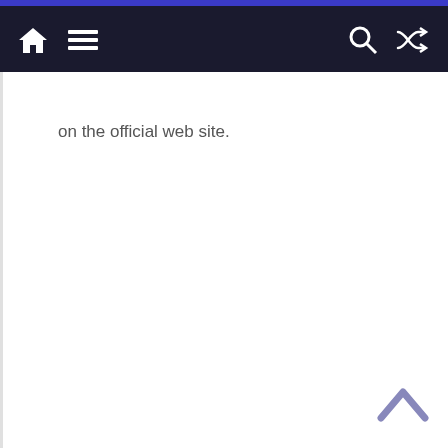Navigation bar with home, menu, search, and shuffle icons
on the official web site.